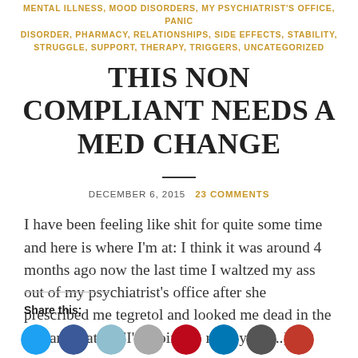MENTAL ILLNESS, MOOD DISORDERS, MY PSYCHIATRIST'S OFFICE, PANIC DISORDER, PHARMACY, RELATIONSHIPS, SIDE EFFECTS, STABILITY, STRUGGLE, SUPPORT, THERAPY, TRIGGERS, UNCATEGORIZED
THIS NON COMPLIANT NEEDS A MED CHANGE
DECEMBER 6, 2015   23 COMMENTS
I have been feeling like shit for quite some time and here is where I'm at: I think it was around 4 months ago now the last time I waltzed my ass out of my psychiatrist's office after she prescribed me tegretol and looked me dead in the eye and stated, "I'm going to refer you [...]
Share this: